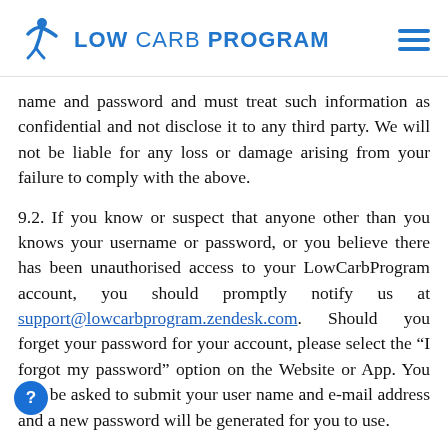LOW CARB PROGRAM
name and password and must treat such information as confidential and not disclose it to any third party. We will not be liable for any loss or damage arising from your failure to comply with the above.
9.2. If you know or suspect that anyone other than you knows your username or password, or you believe there has been unauthorised access to your LowCarbProgram account, you should promptly notify us at support@lowcarbprogram.zendesk.com. Should you forget your password for your account, please select the “I forgot my password” option on the Website or App. You will be asked to submit your user name and e-mail address and a new password will be generated for you to use.